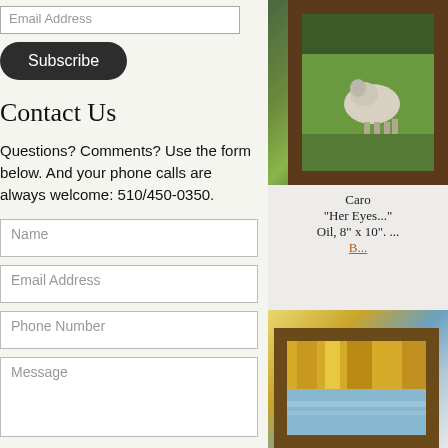Email Address
Subscribe
Contact Us
Questions? Comments? Use the form below. And your phone calls are always welcome: 510/450-0350.
Name
Email Address
Phone Number
Message
[Figure (photo): Framed oil painting of an animal in a green landscape, mounted on a wall]
Caro
"Her Eyes..."
Oil, 8" x 10". ...
B...
[Figure (photo): Framed oil painting of autumn trees and water scene, partially visible]